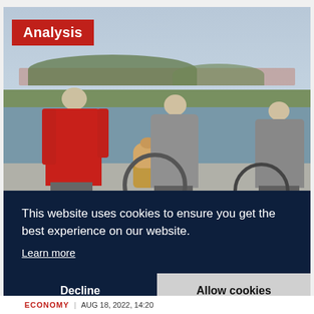[Figure (photo): Three elderly people from behind, standing near a waterway. The person on the left wears a red jacket, the middle person wears a grey sweater and has a dog in a basket on a bicycle, and the person on the right wears a grey top. There is water, green grass, trees, and a town in the background.]
Analysis
This website uses cookies to ensure you get the best experience on our website.
Learn more
Decline
Allow cookies
ECONOMY  |  AUG 18, 2022, 14:20